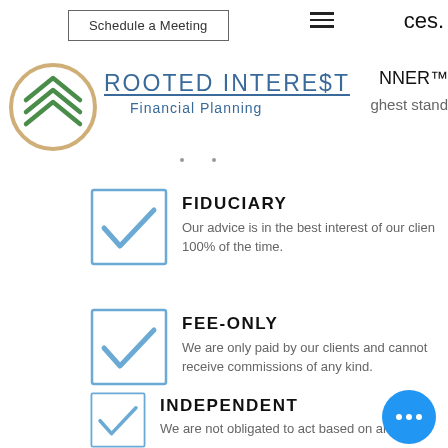[Figure (screenshot): Navigation bar with 'Schedule a Meeting' button, hamburger menu icon, and partial text 'ces.']
[Figure (logo): Rooted Interest Financial Planning logo — circle with three stacked chevrons/mountains in green, with gold/brown circle border]
ROOTED INTEREST Financial Planning
NNER™ ghest stand
FIDUCIARY — Our advice is in the best interest of our clients 100% of the time.
FEE-ONLY — We are only paid by our clients and cannot receive commissions of any kind.
INDEPENDENT — We are not obligated to act based on any out